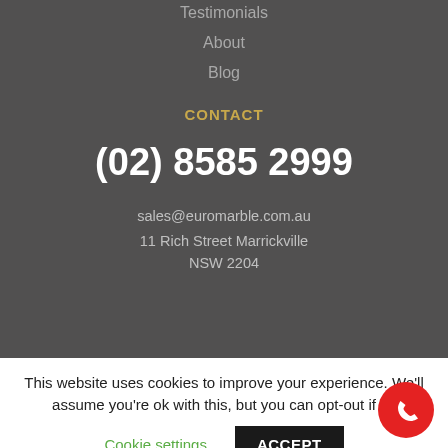Testimonials
About
Blog
CONTACT
(02) 8585 2999
sales@euromarble.com.au
11 Rich Street Marrickville NSW 2204
This website uses cookies to improve your experience. We'll assume you're ok with this, but you can opt-out if yo
Cookie settings
ACCEPT